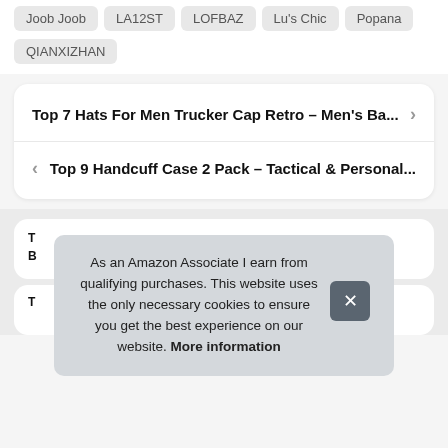Joob Joob
LA12ST
LOFBAZ
Lu's Chic
Popana
QIANXIZHAN
Top 7 Hats For Men Trucker Cap Retro – Men's Ba...
Top 9 Handcuff Case 2 Pack – Tactical & Personal...
As an Amazon Associate I earn from qualifying purchases. This website uses the only necessary cookies to ensure you get the best experience on our website. More information